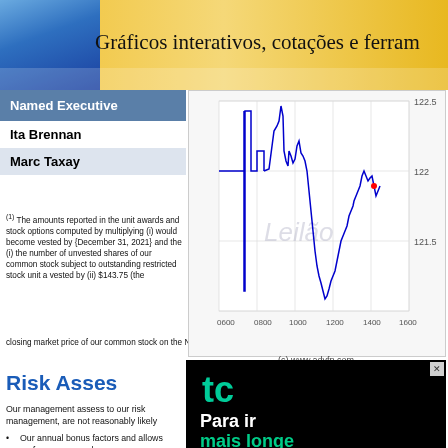Gráficos interativos, cotações e ferram
| Named Executive |
| --- |
| Ita Brennan |
| Marc Taxay |
(1) The amounts reported in the unit awards and stock options computed by multiplying (i) would become vested by {December 31, 2021} and the (i) the number of unvested shares of our common stock subject to outstanding restricted stock unit a vested by (ii) $143.75 (the closing market price of our common stock on the New York Stock Exchar
[Figure (continuous-plot): Stock price chart with x-axis showing time (0600, 0800, 1000, 1200, 1400, 1600) and y-axis showing price (121.5, 122, 122.5). Blue line chart with watermark 'Leilão' and a red dot. Copyright www.advfn.com]
(c) www.advfn.com
Risk Asses
Our management assess to our risk management, are not reasonably likely
Our annual bonus factors and allows performance on a b
[Figure (advertisement): Black advertisement with teal 'tc' logo and text 'Para ir mais longe' in white and teal]